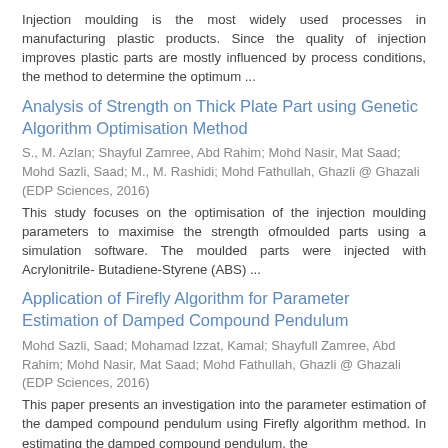Injection moulding is the most widely used processes in manufacturing plastic products. Since the quality of injection improves plastic parts are mostly influenced by process conditions, the method to determine the optimum ...
Analysis of Strength on Thick Plate Part using Genetic Algorithm Optimisation Method
S., M. Azlan; Shayful Zamree, Abd Rahim; Mohd Nasir, Mat Saad; Mohd Sazli, Saad; M., M. Rashidi; Mohd Fathullah, Ghazli @ Ghazali (EDP Sciences, 2016)
This study focuses on the optimisation of the injection moulding parameters to maximise the strength ofmoulded parts using a simulation software. The moulded parts were injected with Acrylonitrile- Butadiene-Styrene (ABS) ...
Application of Firefly Algorithm for Parameter Estimation of Damped Compound Pendulum
Mohd Sazli, Saad; Mohamad Izzat, Kamal; Shayfull Zamree, Abd Rahim; Mohd Nasir, Mat Saad; Mohd Fathullah, Ghazli @ Ghazali (EDP Sciences, 2016)
This paper presents an investigation into the parameter estimation of the damped compound pendulum using Firefly algorithm method. In estimating the damped compound pendulum, the ...